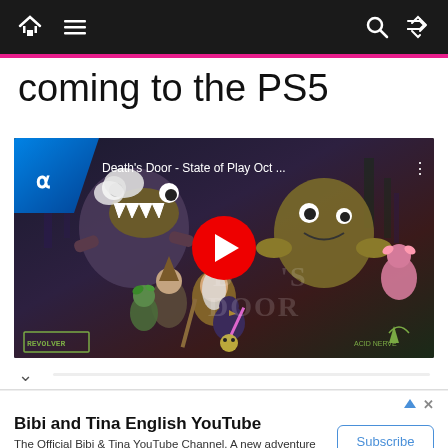Navigation bar with home, menu, search, and shuffle icons
coming to the PS5
[Figure (screenshot): YouTube video thumbnail for Death's Door - State of Play Oct ... showing game characters with a red play button overlay, PlayStation logo top-left, Revolver and Acid Nerve logos bottom corners]
Bibi and Tina English YouTube
The Official Bibi & Tina YouTube Channel. A new adventure will be uploaded every thursday! Bibi and Tina